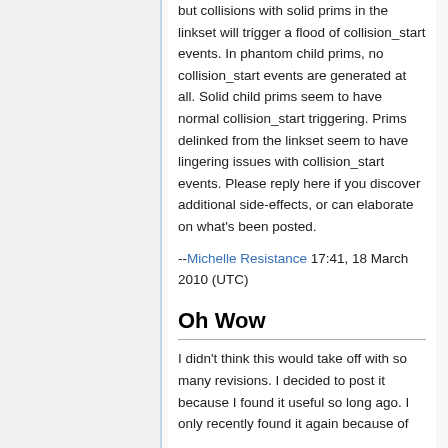but collisions with solid prims in the linkset will trigger a flood of collision_start events. In phantom child prims, no collision_start events are generated at all. Solid child prims seem to have normal collision_start triggering. Prims delinked from the linkset seem to have lingering issues with collision_start events. Please reply here if you discover additional side-effects, or can elaborate on what's been posted.
--Michelle Resistance 17:41, 18 March 2010 (UTC)
Oh Wow
I didn't think this would take off with so many revisions. I decided to post it because I found it useful so long ago. I only recently found it again because of